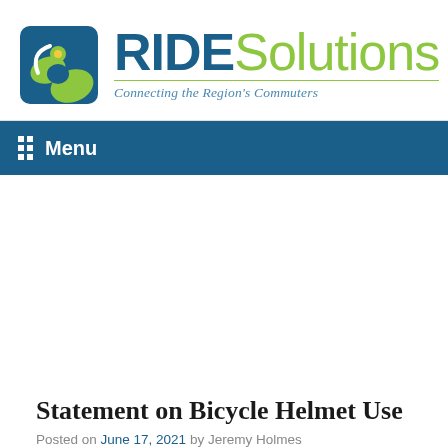[Figure (logo): RIDESolutions logo with icon showing blue square with puzzle-piece figure and green leaf shapes, followed by text 'RIDE' in dark blue bold and 'Solutions' in green, with tagline 'Connecting the Region's Commuters' in italic blue below a green underline]
Menu
Statement on Bicycle Helmet Use
Posted on June 17, 2021 by Jeremy Holmes